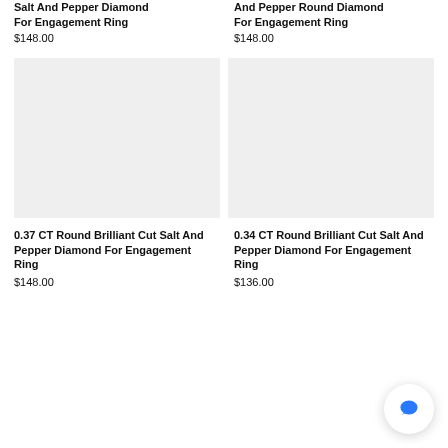Salt And Pepper Diamond For Engagement Ring
$148.00
And Pepper Round Diamond For Engagement Ring
$148.00
[Figure (photo): Product image placeholder - light gray rectangle]
[Figure (photo): Product image placeholder - light gray rectangle]
0.37 CT Round Brilliant Cut Salt And Pepper Diamond For Engagement Ring
$148.00
0.34 CT Round Brilliant Cut Salt And Pepper Diamond For Engagement Ring
$136.00